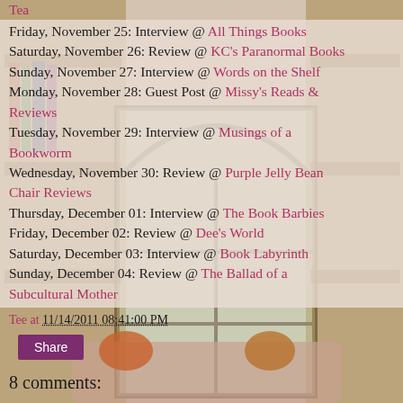Tea
Friday, November 25: Interview @ All Things Books
Saturday, November 26: Review @ KC's Paranormal Books
Sunday, November 27: Interview @ Words on the Shelf
Monday, November 28: Guest Post @ Missy's Reads & Reviews
Tuesday, November 29: Interview @ Musings of a Bookworm
Wednesday, November 30: Review @ Purple Jelly Bean Chair Reviews
Thursday, December 01: Interview @ The Book Barbies
Friday, December 02: Review @ Dee's World
Saturday, December 03: Interview @ Book Labyrinth
Sunday, December 04: Review @ The Ballad of a Subcultural Mother
Tee at 11/14/2011 08:41:00 PM
Share
8 comments: